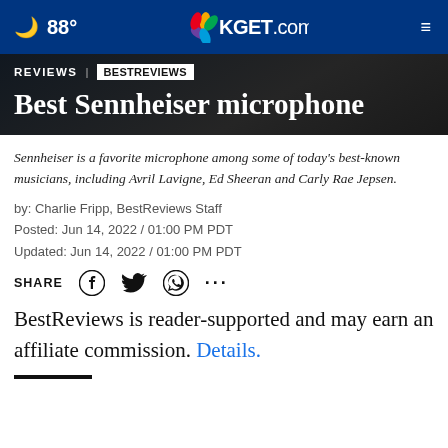🌙 88° | KGET.com | ≡
REVIEWS | BESTREVIEWS
Best Sennheiser microphone
Sennheiser is a favorite microphone among some of today's best-known musicians, including Avril Lavigne, Ed Sheeran and Carly Rae Jepsen.
by: Charlie Fripp, BestReviews Staff
Posted: Jun 14, 2022 / 01:00 PM PDT
Updated: Jun 14, 2022 / 01:00 PM PDT
SHARE
BestReviews is reader-supported and may earn an affiliate commission. Details.